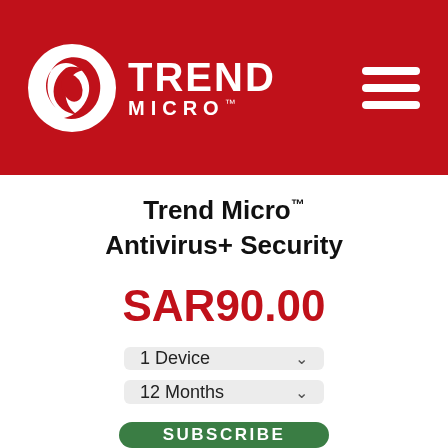[Figure (logo): Trend Micro logo with red circle/swirl icon on left and TREND MICRO text on right in white, on red background header with hamburger menu icon on the right]
Trend Micro™ Antivirus+ Security
SAR90.00
1 Device
12 Months
SUBSCRIBE